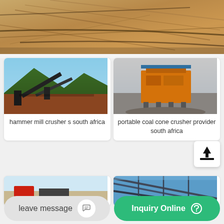[Figure (photo): Aerial/overhead view of mining or quarry site with sandy/dusty ground and pipes or cables visible]
[Figure (photo): Quarry or mining site with conveyor belts and green mountain backdrop]
hammer mill crusher s south africa
[Figure (photo): Orange portable coal cone crusher machine at a quarry site]
portable coal cone crusher provider south africa
[Figure (photo): Partial view of mining equipment at bottom left]
[Figure (photo): Partial view of steel structure or framework at bottom right]
leave message
Inquiry Online